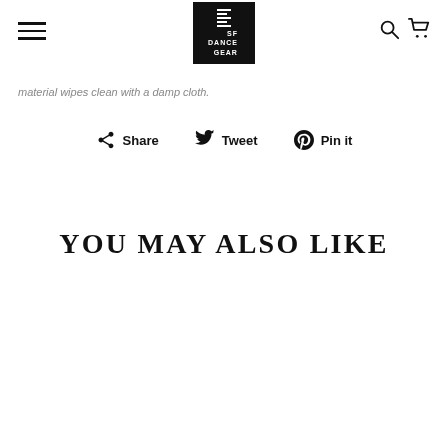SF Dance Gear — navigation header with logo, hamburger menu, search and cart icons
material wipes clean with a damp cloth.
Share  Tweet  Pin it
YOU MAY ALSO LIKE